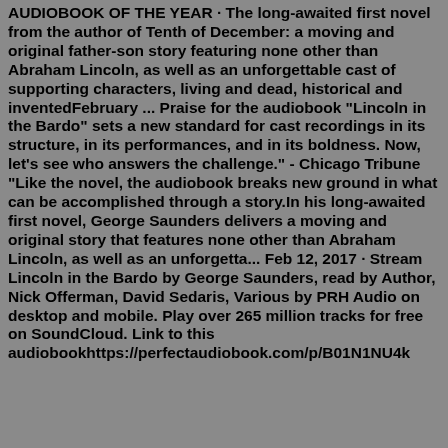AUDIOBOOK OF THE YEAR · The long-awaited first novel from the author of Tenth of December: a moving and original father-son story featuring none other than Abraham Lincoln, as well as an unforgettable cast of supporting characters, living and dead, historical and inventedFebruary ... Praise for the audiobook "Lincoln in the Bardo" sets a new standard for cast recordings in its structure, in its performances, and in its boldness. Now, let's see who answers the challenge." - Chicago Tribune "Like the novel, the audiobook breaks new ground in what can be accomplished through a story.In his long-awaited first novel, George Saunders delivers a moving and original story that features none other than Abraham Lincoln, as well as an unforgetta... Feb 12, 2017 · Stream Lincoln in the Bardo by George Saunders, read by Author, Nick Offerman, David Sedaris, Various by PRH Audio on desktop and mobile. Play over 265 million tracks for free on SoundCloud. Link to this audiobookhttps://perfectaudiobook.com/p/B01N1NU4k